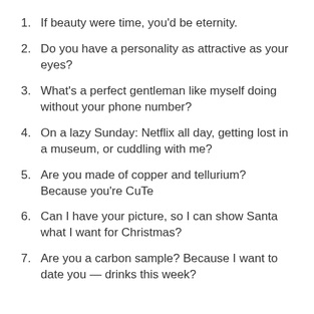If beauty were time, you'd be eternity.
Do you have a personality as attractive as your eyes?
What's a perfect gentleman like myself doing without your phone number?
On a lazy Sunday: Netflix all day, getting lost in a museum, or cuddling with me?
Are you made of copper and tellurium? Because you're CuTe
Can I have your picture, so I can show Santa what I want for Christmas?
Are you a carbon sample? Because I want to date you — drinks this week?